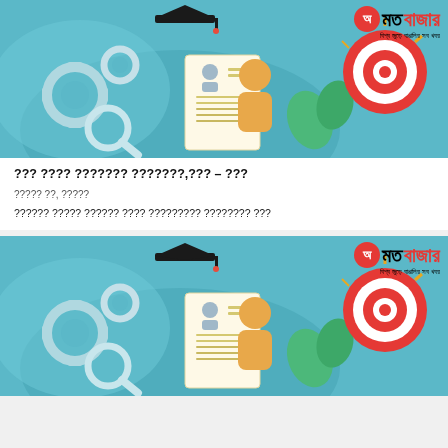[Figure (illustration): Educational/job application illustration with graduation cap, gears, resume, person, and target bullseye. Amrita Bazar Patrika logo overlay top right.]
??? ???? ??????? ???????,??? – ???
????? ??, ?????
?????? ????? ?????? ???? ????????? ???????? ???
[Figure (illustration): Same educational/job application illustration repeated. Amrita Bazar Patrika logo overlay top right.]